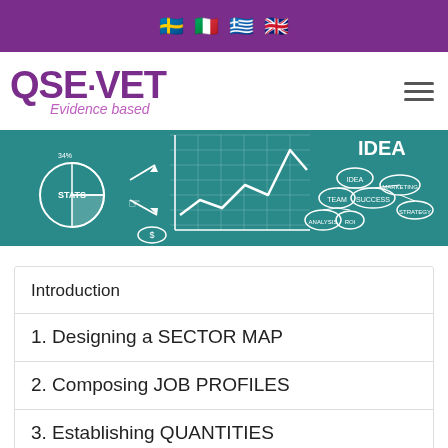Language selector: Swedish, Italian, Greek, English
[Figure (logo): QSE·VET Evidence based logo in purple, with hamburger menu icon on right]
[Figure (illustration): Teal chalkboard-style banner with hand-drawn business/stats doodles: pie chart labeled STATS, line graph, mind map with IDEA/TEAM/SUCCESS/ROI labels, arrows, dollar sign, and the word IDEA in large letters]
Introduction
1. Designing a SECTOR MAP
2. Composing JOB PROFILES
3. Establishing QUANTITIES